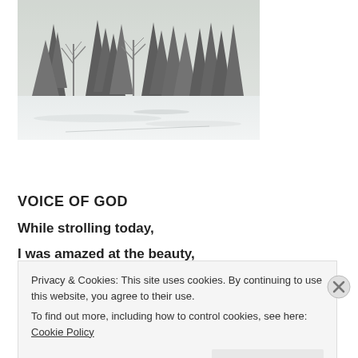[Figure (photo): Winter scene with snow-covered evergreen and bare deciduous trees against a snowy field, black and white / muted tones.]
VOICE OF GOD
While strolling today,
I was amazed at the beauty,
Privacy & Cookies: This site uses cookies. By continuing to use this website, you agree to their use.
To find out more, including how to control cookies, see here: Cookie Policy
Close and accept